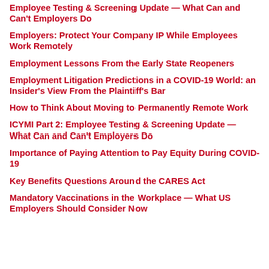Employee Testing & Screening Update — What Can and Can't Employers Do
Employers: Protect Your Company IP While Employees Work Remotely
Employment Lessons From the Early State Reopeners
Employment Litigation Predictions in a COVID-19 World: an Insider's View From the Plaintiff's Bar
How to Think About Moving to Permanently Remote Work
ICYMI Part 2: Employee Testing & Screening Update — What Can and Can't Employers Do
Importance of Paying Attention to Pay Equity During COVID-19
Key Benefits Questions Around the CARES Act
Mandatory Vaccinations in the Workplace — What US Employers Should Consider Now